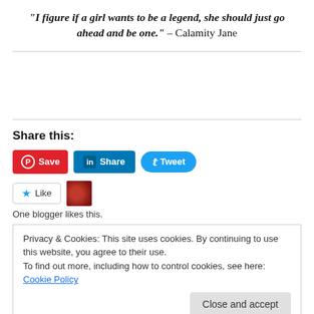“I figure if a girl wants to be a legend, she should just go ahead and be one.” – Calamity Jane
Share this:
[Figure (screenshot): Social sharing buttons: Pinterest Save, LinkedIn Share, Twitter Tweet]
[Figure (screenshot): Like button with star icon and blogger avatar thumbnail]
One blogger likes this.
Privacy & Cookies: This site uses cookies. By continuing to use this website, you agree to their use. To find out more, including how to control cookies, see here: Cookie Policy
Close and accept